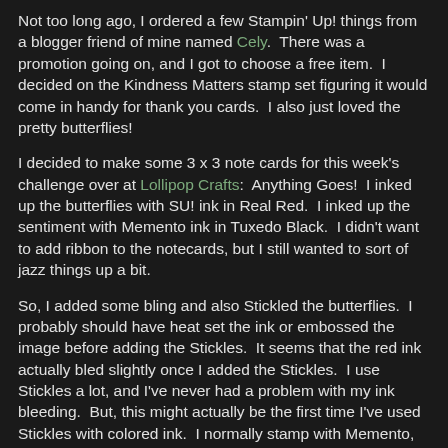Not too long ago, I ordered a few Stampin' Up! things from a blogger friend of mine named Cely.  There was a promotion going on, and I got to choose a free item.  I decided on the Kindness Matters stamp set figuring it would come in handy for thank you cards.  I also just loved the pretty butterflies!
I decided to make some 3 x 3 note cards for this week's challenge over at Lollipop Crafts:  Anything Goes!  I inked up the butterflies with SU! ink in Real Red.  I inked up the sentiment with Memento ink in Tuxedo Black.  I didn't want to add ribbon to the notecards, but I still wanted to sort of jazz things up a bit.
So, I added some bling and also Stickled the butterflies.  I probably should have heat set the ink or embossed the image before adding the Stickles.  It seems that the red ink actually bled slightly once I added the Stickles.  I use Stickles a lot, and I've never had a problem with my ink bleeding.  But, this might actually be the first time I've used Stickles with colored ink.  I normally stamp with Memento, Clearly Better, or Staz-On.